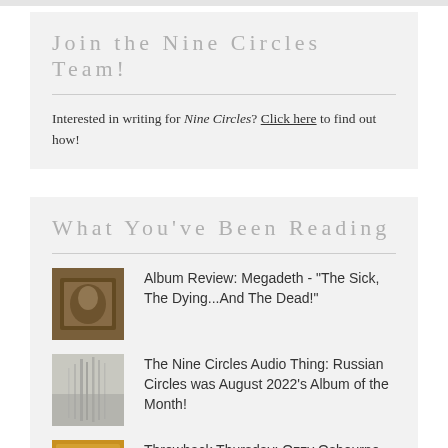Join the Nine Circles Team!
Interested in writing for Nine Circles? Click here to find out how!
What You've Been Reading
Album Review: Megadeth - "The Sick, The Dying...And The Dead!"
The Nine Circles Audio Thing: Russian Circles was August 2022's Album of the Month!
Throwback Thursday: Ozzy Osbourne -